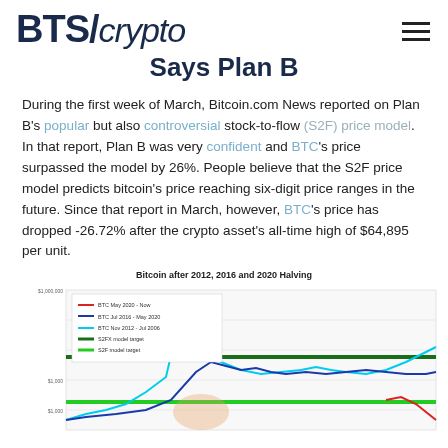BTS/crypto
Says Plan B
During the first week of March, Bitcoin.com News reported on Plan B's popular but also controversial stock-to-flow (S2F) price model. In that report, Plan B was very confident and BTC's price surpassed the model by 26%. People believe that the S2F price model predicts bitcoin's price reaching six-digit price ranges in the future. Since that report in March, however, BTC's price has dropped -26.72% after the crypto asset's all-time high of $64,895 per unit.
[Figure (line-chart): Line chart showing BTC price after 2012, 2016, and 2020 halvings with S2FX model target and S2F model target reference lines. Legend shows: BTC May 2020 - Now (red), BTC Jul 2016 - May 2020 (blue), BTC Nov 2012 - Jul 2006 (cyan), S2FX model target (dark green), S2F model target (green).]